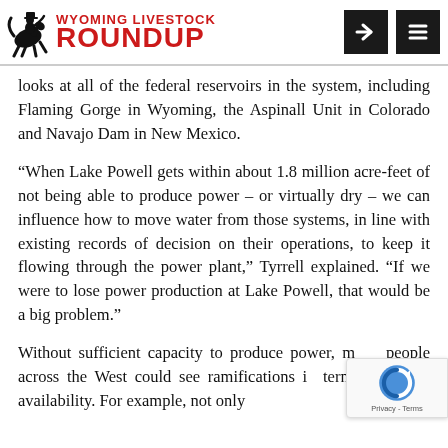Wyoming Livestock Roundup
looks at all of the federal reservoirs in the system, including Flaming Gorge in Wyoming, the Aspinall Unit in Colorado and Navajo Dam in New Mexico.
“When Lake Powell gets within about 1.8 million acre-feet of not being able to produce power – or virtually dry – we can influence how to move water from those systems, in line with existing records of decision on their operations, to keep it flowing through the power plant,” Tyrrell explained. “If we were to lose power production at Lake Powell, that would be a big problem.”
Without sufficient capacity to produce power, many people across the West could see ramifications in terms of power availability. For example, not only